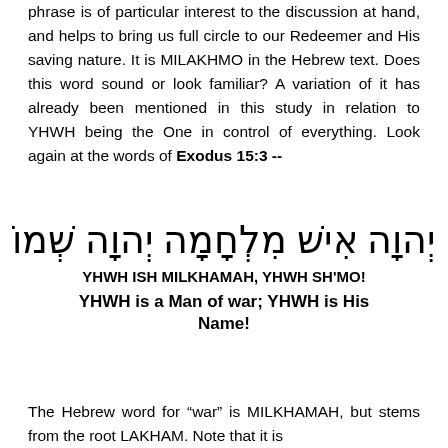phrase is of particular interest to the discussion at hand, and helps to bring us full circle to our Redeemer and His saving nature. It is MILAKHMO in the Hebrew text. Does this word sound or look familiar? A variation of it has already been mentioned in this study in relation to YHWH being the One in control of everything. Look again at the words of Exodus 15:3 --
[Figure (other): Hebrew text of Exodus 15:3 in large Hebrew script]
YHWH ISH MILKHAMAH, YHWH SH'MO!
YHWH is a Man of war; YHWH is His Name!
The Hebrew word for “war” is MILKHAMAH, but stems from the root LAKHAM. Note that it is